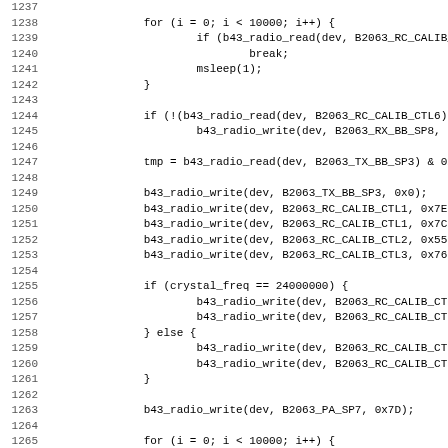[Figure (screenshot): Source code listing showing C code lines 1237-1268, featuring radio calibration functions including for loops, b43_radio_read, b43_radio_write calls, msleep, and crystal frequency conditional branches.]